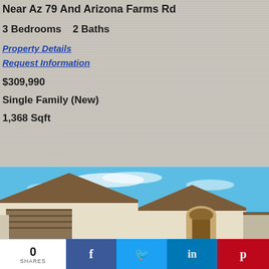Near Az 79 And Arizona Farms Rd
3 Bedrooms   2 Baths
Property Details
Request Information
$309,990
Single Family (New)
1,368 Sqft
[Figure (photo): Exterior photo of a single-family home with beige/tan stucco finish, brown roof trim, two-car garage, under a blue sky with light clouds]
0 SHARES